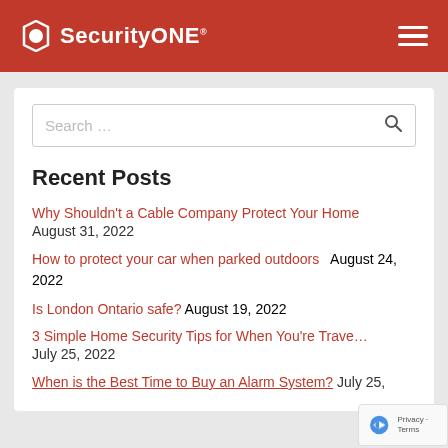SecurityONE
Search ...
Recent Posts
Why Shouldn't a Cable Company Protect Your Home – August 31, 2022
How to protect your car when parked outdoors – August 24, 2022
Is London Ontario safe? – August 19, 2022
3 Simple Home Security Tips for When You're Trave... – July 25, 2022
When is the Best Time to Buy an Alarm System? – July 25, ...